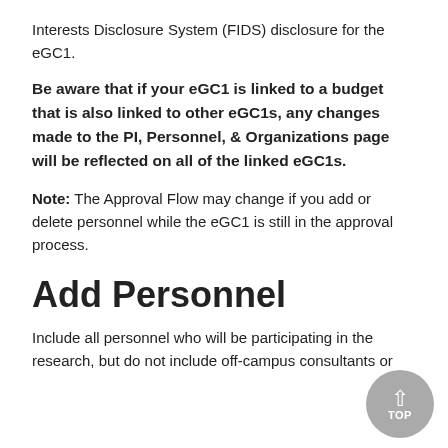Interests Disclosure System (FIDS) disclosure for the eGC1.
Be aware that if your eGC1 is linked to a budget that is also linked to other eGC1s, any changes made to the PI, Personnel, & Organizations page will be reflected on all of the linked eGC1s.
Note: The Approval Flow may change if you add or delete personnel while the eGC1 is still in the approval process.
Add Personnel
Include all personnel who will be participating in the research, but do not include off-campus consultants or